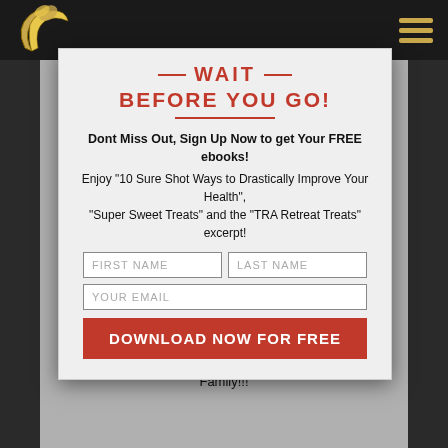[Figure (logo): Banana logo with yellow banana and butterfly icon on dark background top bar]
[Figure (illustration): Finca de Vida Tour watermark text in light grey over grey content area background]
WAIT
BEFORE YOU GO!
Dont Miss Out, Sign Up Now to get Your FREE ebooks! Enjoy "10 Sure Shot Ways to Drastically Improve Your Health", "Super Sweet Treats" and the "TRA Retreat Treats" excerpt!
FIRST NAME placeholder input
LAST NAME placeholder input
YOUR EMAIL placeholder input
DOWNLOAD NOW FOR FREE button
The first Interview is with Ka Sundance of The Raw Food Family!!!